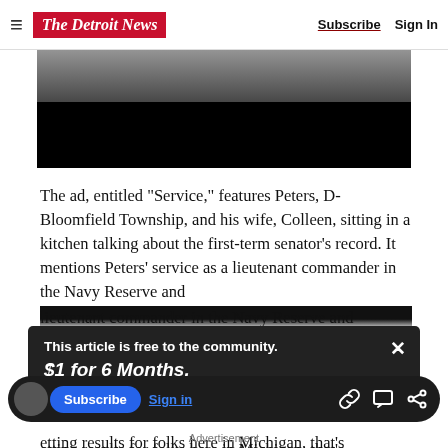The Detroit News — Subscribe | Sign In
[Figure (screenshot): Partially visible video still showing people in a kitchen, with lower portion blacked out]
The ad, entitled "Service," features Peters, D-Bloomfield Township, and his wife, Colleen, sitting in a kitchen talking about the first-term senator's record. It mentions Peters' service as a lieutenant commander in the Navy Reserve and
This article is free to the community.
$1 for 6 Months.
Subscribe now
etting results for folks here in Michigan, that's
Advertisement